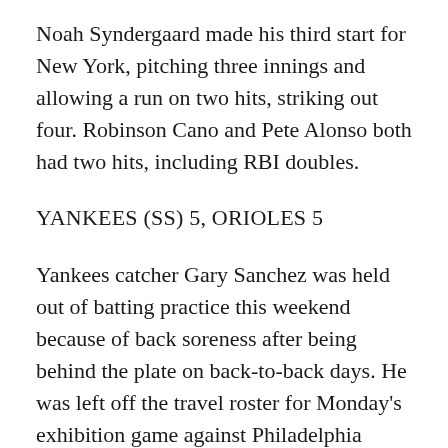Noah Syndergaard made his third start for New York, pitching three innings and allowing a run on two hits, striking out four. Robinson Cano and Pete Alonso both had two hits, including RBI doubles.
YANKEES (SS) 5, ORIOLES 5
Yankees catcher Gary Sanchez was held out of batting practice this weekend because of back soreness after being behind the plate on back-to-back days. He was left off the travel roster for Monday's exhibition game against Philadelphia